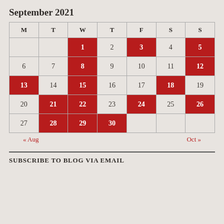September 2021
| M | T | W | T | F | S | S |
| --- | --- | --- | --- | --- | --- | --- |
|  |  | 1 | 2 | 3 | 4 | 5 |
| 6 | 7 | 8 | 9 | 10 | 11 | 12 |
| 13 | 14 | 15 | 16 | 17 | 18 | 19 |
| 20 | 21 | 22 | 23 | 24 | 25 | 26 |
| 27 | 28 | 29 | 30 |  |  |  |
« Aug    Oct »
SUBSCRIBE TO BLOG VIA EMAIL